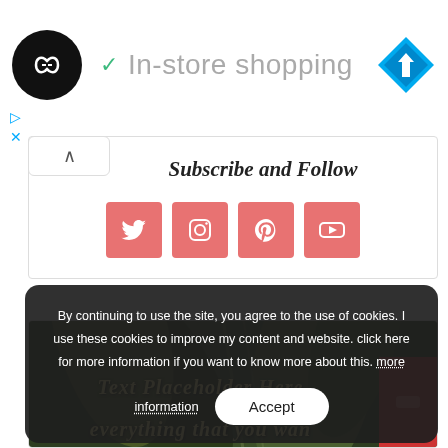[Figure (logo): Black circular logo with infinity/arrow symbol inside, top-left corner]
✓ In-store shopping
[Figure (logo): Cyan diamond-shaped navigation icon, top-right corner]
[Figure (screenshot): Small play and X icons on left side]
Subscribe and Follow
[Figure (infographic): Four coral/salmon colored social media icon buttons: Twitter, Instagram, Pinterest, YouTube]
[Figure (photo): Dark tropical leaf photo background with italic gold text overlay: 'everything that you wan']
By continuing to use the site, you agree to the use of cookies. I use these cookies to improve my content and website. click here for more information if you want to know more about this. more information
Accept